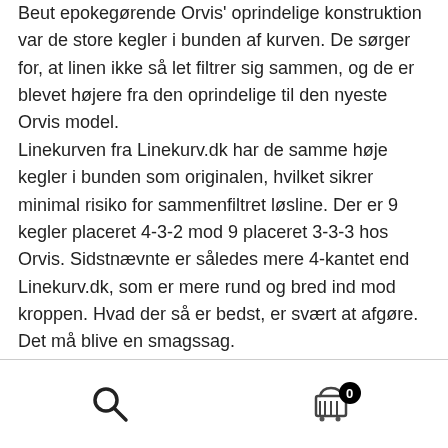Beut epokegørende Orvis' oprindelige konstruktion var de store kegler i bunden af kurven. De sørger for, at linen ikke så let filtrer sig sammen, og de er blevet højere fra den oprindelige til den nyeste Orvis model. Linekurven fra Linekurv.dk har de samme høje kegler i bunden som originalen, hvilket sikrer minimal risiko for sammenfiltret løsline. Der er 9 kegler placeret 4-3-2 mod 9 placeret 3-3-3 hos Orvis. Sidstnævnte er således mere 4-kantet end Linekurv.dk, som er mere rund og bred ind mod kroppen. Hvad der så er bedst, er svært at afgøre. Det må blive en smagssag. Materialet på Linekurv.dk er kraftigere polypropylen endpå Orvis, som til gengæld har behageligt afrundede kanter. Det føles mere trygt at lade sin kostbare fluestang hvile i den brede udskæring, som findes på Orvis – mod den
[Figure (other): Page footer with search icon (magnifying glass) on the left and shopping cart icon with badge showing 0 on the right]